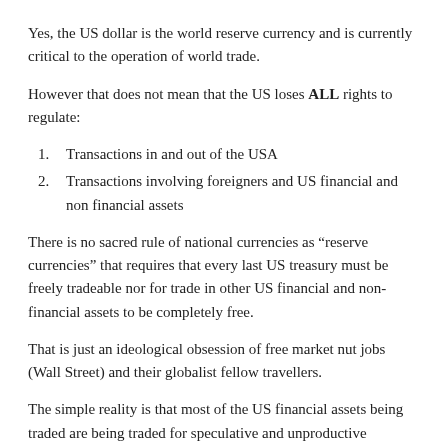Yes, the US dollar is the world reserve currency and is currently critical to the operation of world trade.
However that does not mean that the US loses ALL rights to regulate:
Transactions in and out of the USA
Transactions involving foreigners and US financial and non financial assets
There is no sacred rule of national currencies as “reserve currencies” that requires that every last US treasury must be freely tradeable nor for trade in other US financial and non-financial assets to be completely free.
That is just an ideological obsession of free market nut jobs (Wall Street) and their globalist fellow travellers.
The simple reality is that most of the US financial assets being traded are being traded for speculative and unproductive purposes.  The amount actually required for the world trade system to functional is small.   Not that Wall Street and their team of financial press cheerleaders will ever admit it.